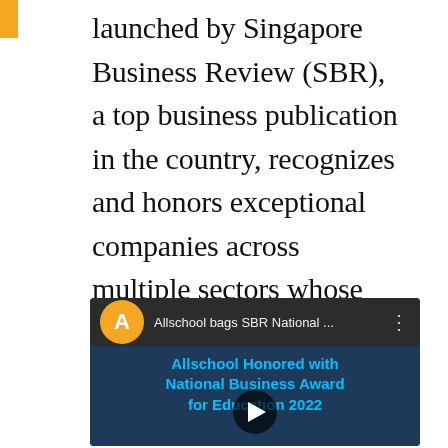launched by Singapore Business Review (SBR), a top business publication in the country, recognizes and honors exceptional companies across multiple sectors whose trailblazing initiatives and pioneering solutions have further refreshed the dynamic business landscape internationally.
[Figure (screenshot): YouTube video thumbnail showing 'Allschool bags SBR National ...' with orange Allschool logo icon, three-dot menu, and video overlay text 'Allschool Honored with National Business Award for Education 2022' with a play button in the center.]